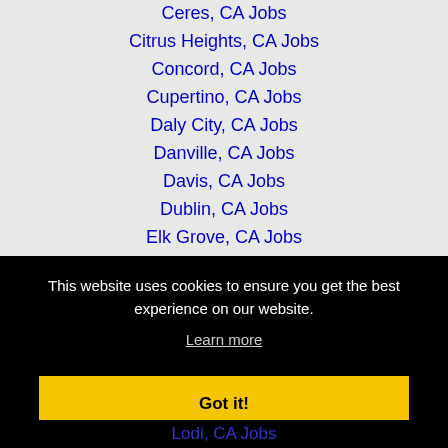Ceres, CA Jobs
Citrus Heights, CA Jobs
Concord, CA Jobs
Cupertino, CA Jobs
Daly City, CA Jobs
Danville, CA Jobs
Davis, CA Jobs
Dublin, CA Jobs
Elk Grove, CA Jobs
Fairfield, CA Jobs
This website uses cookies to ensure you get the best experience on our website.
Learn more
Got it!
Lodi, CA Jobs